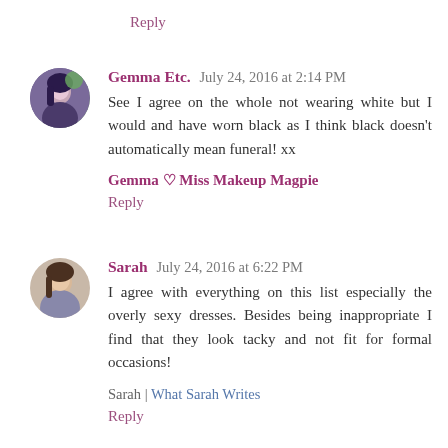Reply
Gemma Etc.  July 24, 2016 at 2:14 PM
See I agree on the whole not wearing white but I would and have worn black as I think black doesn't automatically mean funeral! xx
Gemma ♡ Miss Makeup Magpie
Reply
Sarah  July 24, 2016 at 6:22 PM
I agree with everything on this list especially the overly sexy dresses. Besides being inappropriate I find that they look tacky and not fit for formal occasions!
Sarah | What Sarah Writes
Reply